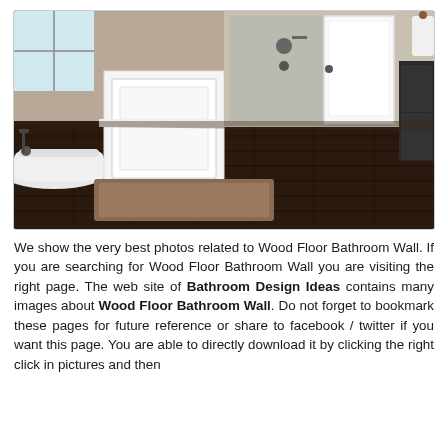[Figure (photo): Interior photo of a luxury bathroom featuring dark hardwood floors, a freestanding white bathtub on the left, a white wainscoting divider wall, a glass-enclosed shower in the background, white doors, dark cabinetry on the right, and a brown bath rug on the floor.]
We show the very best photos related to Wood Floor Bathroom Wall. If you are searching for Wood Floor Bathroom Wall you are visiting the right page. The web site of Bathroom Design Ideas contains many images about Wood Floor Bathroom Wall. Do not forget to bookmark these pages for future reference or share to facebook / twitter if you want this page. You are able to directly download it by clicking the right click in pictures and then